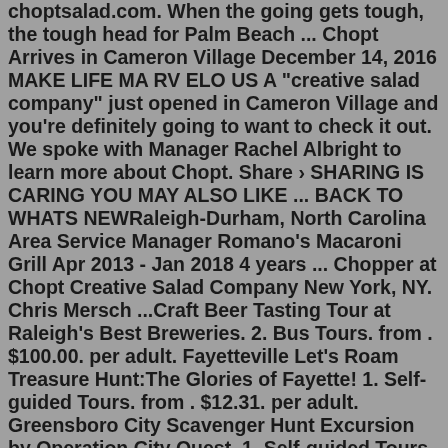choptsalad.com. When the going gets tough, the tough head for Palm Beach ... Chopt Arrives in Cameron Village December 14, 2016 MAKE LIFE MA RV ELO US A "creative salad company" just opened in Cameron Village and you're definitely going to want to check it out. We spoke with Manager Rachel Albright to learn more about Chopt. Share › SHARING IS CARING YOU MAY ALSO LIKE ... BACK TO WHATS NEWRaleigh-Durham, North Carolina Area Service Manager Romano's Macaroni Grill Apr 2013 - Jan 2018 4 years ... Chopper at Chopt Creative Salad Company New York, NY. Chris Mersch ...Craft Beer Tasting Tour at Raleigh's Best Breweries. 2. Bus Tours. from . $100.00. per adult. Fayetteville Let's Roam Treasure Hunt:The Glories of Fayette! 1. Self-guided Tours. from . $12.31. per adult. Greensboro City Scavenger Hunt Excursion by Operation City Quest. 1. Self-guided Tours. from . $10.00. per adult. Axe Throwing Training.Nov 08, 2021 · Chopt Creative Salad Co. locations in North Carolina are offering a free kids meal with an adult